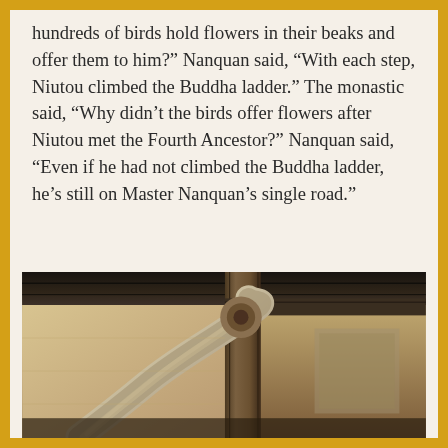hundreds of birds hold flowers in their beaks and offer them to him?” Nanquan said, “With each step, Niutou climbed the Buddha ladder.” The monastic said, “Why didn’t the birds offer flowers after Niutou met the Fourth Ancestor?” Nanquan said, “Even if he had not climbed the Buddha ladder, he’s still on Master Nanquan’s single road.”
[Figure (photo): A photograph of an old wooden structure showing weathered wooden planks forming a wall, a vertical post, and a diagonal rope or twisted wooden beam crossing in front. The colors are warm browns, tans, and dark grays suggesting aged timber and plaster.]